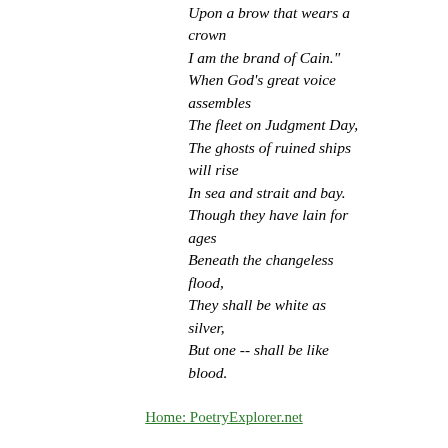Upon a brow that wears a crown
I am the brand of Cain."

When God's great voice assembles
The fleet on Judgment Day,
The ghosts of ruined ships will rise
In sea and strait and bay.
Though they have lain for ages
Beneath the changeless flood,
They shall be white as silver,
But one -- shall be like blood.
Home: PoetryExplorer.net